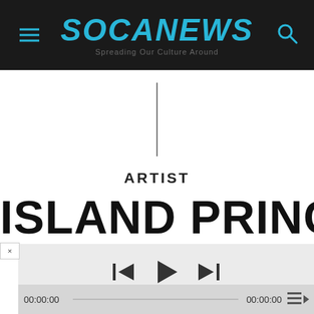[Figure (screenshot): SOCANEWS website header with logo, hamburger menu icon, and search icon on dark background]
[Figure (other): Vertical black divider line centered on white background]
ARTIST
ISLAND PRINCE
[Figure (other): Music player UI with playback controls (skip back, play, skip forward), progress bar, and timestamps 00:00:00 on both sides with queue icon]